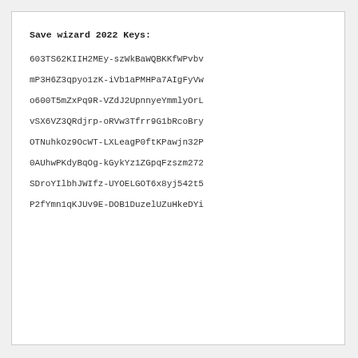Save wizard 2022 Keys:
603TS62KIIH2MEy-szWkBaWQBKKfWPvbv
mP3H6Z3qpyo1zK-iVb1aPMHPa7AIgFyVw
o600T5mZxPq9R-VZdJ2UpnnyeYmmlyOrL
vSX6VZ3QRdjrp-oRVw3Tfrr9G1bRcoBry
OTNuhkOz9OcWT-LXLeagP0ftKPawjn32P
0AUhwPKdyBqOg-kGykYz1ZGpqFzszm272
SDroYIlbhJWIfz-UYOELGOT6x8yj542t5
P2fYmn1qKJUv9E-DOB1DuzelUZuHkeDYi